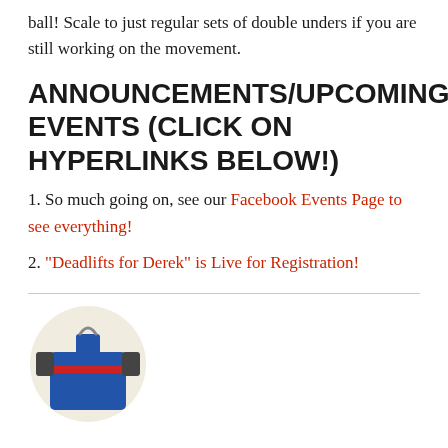ball!  Scale to just regular sets of double unders if you are still working on the movement.
ANNOUNCEMENTS/UPCOMING EVENTS (CLICK ON HYPERLINKS BELOW!)
1. So much going on, see our Facebook Events Page to see everything!
2. “Deadlifts for Derek” is Live for Registration!
[Figure (illustration): Illustration of a dark blue gym bag / shirt with red handle on a light beige circular background]